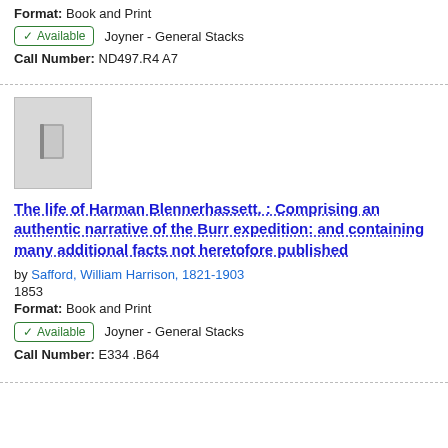Format: Book and Print
✓ Available   Joyner - General Stacks
Call Number: ND497.R4 A7
[Figure (illustration): Generic book thumbnail placeholder with a small grey book icon on a light grey background]
The life of Harman Blennerhassett. : Comprising an authentic narrative of the Burr expedition: and containing many additional facts not heretofore published
by Safford, William Harrison, 1821-1903
1853
Format: Book and Print
✓ Available   Joyner - General Stacks
Call Number: E334 .B64